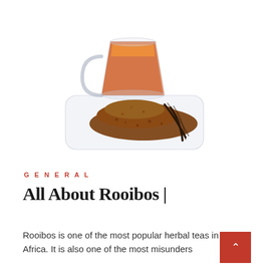[Figure (photo): A glass cup of rooibos tea sitting on a glass saucer plate, with loose rooibos tea leaves piled in front and two vanilla bean pods resting on the saucer beside the pile of tea.]
GENERAL
All About Rooibos |
Rooibos is one of the most popular herbal teas in South Africa. It is also one of the most misunders